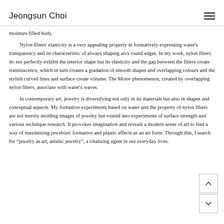Jeongsun Choi
moisture filled body.
    Nylon fibers' elasticity is a very appealing property in formatively expressing water's transparency and its characteristic of always shaping arcs round edges. In my work, nylon fibers do not perfectly exhibit the interior shape but its elasticity and the gap between the fibers create transluscence, which in turn creates a gradation of smooth shapes and overlapping colours and the stylish curved lines and surface create volume. The Moire phenomenon, created by overlapping nylon fibers, associate with water's waves.
    In contemporary art, jewelry is diversifying not only in its materials but also in shapes and conceptual aspects. My formative experiments based on water and the property of nylon fibers are not merely molding images of jewelry but extend into experiments of surface strength and various technique research. It provokes imagination and reveals a modern sense of art to find a way of maximizing jewelries' formative and plastic effects as an art form. Through this, I search for "jewelry as art, artistic jewelry", a vitalizing agent in our everyday lives.